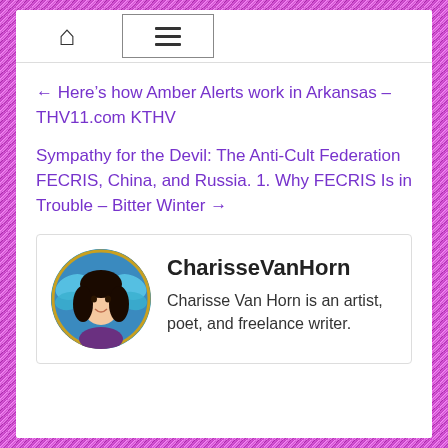Navigation bar with home and menu icons
← Here’s how Amber Alerts work in Arkansas – THV11.com KTHV
Sympathy for the Devil: The Anti-Cult Federation FECRIS, China, and Russia. 1. Why FECRIS Is in Trouble – Bitter Winter →
[Figure (photo): Circular portrait photo of Charisse Van Horn, a woman with dark hair, styled with a butterfly/flower artistic background in blue and gold tones]
CharisseVanHorn
Charisse Van Horn is an artist, poet, and freelance writer.